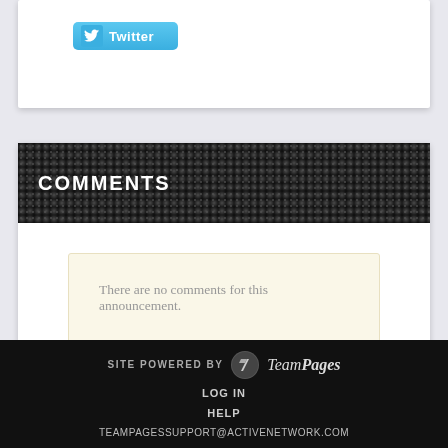[Figure (logo): Twitter button with bird icon and 'Twitter' text on blue gradient background]
COMMENTS
There are no comments for this announcement.
SITE POWERED BY TeamPages LOG IN HELP TEAMPAGESSUPPORT@ACTIVENETWORK.COM